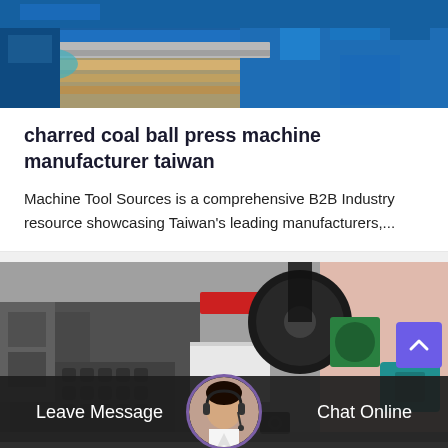[Figure (photo): Blue industrial press/stamping machine with metal sheets, close-up top view]
charred coal ball press machine manufacturer taiwan
Machine Tool Sources is a comprehensive B2B Industry resource showcasing Taiwan's leading manufacturers,...
[Figure (photo): Industrial ball press machine with green flywheel, red component, hexagonal molds, teal motor on workshop floor]
Leave Message
Chat Online